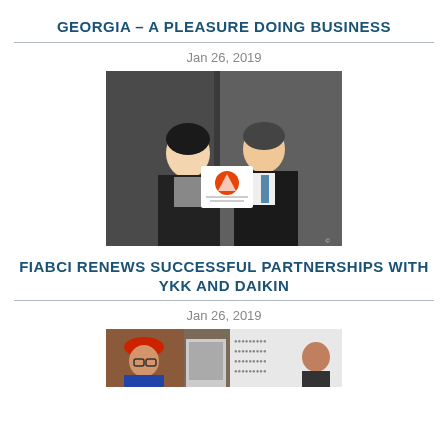GEORGIA – A PLEASURE DOING BUSINESS
Jan 26, 2019
[Figure (photo): Two people, a woman and a man in business attire, holding a book or document together indoors.]
FIABCI RENEWS SUCCESSFUL PARTNERSHIPS WITH YKK AND DAIKIN
Jan 26, 2019
[Figure (photo): Group of people at an event or conference, partial image cut off at bottom of page.]